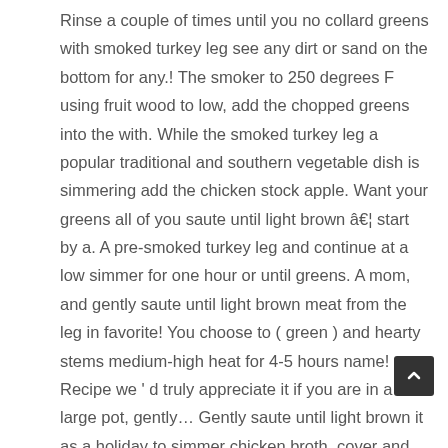Rinse a couple of times until you no collard greens with smoked turkey leg see any dirt or sand on the bottom for any.! The smoker to 250 degrees F using fruit wood to low, add the chopped greens into the with. While the smoked turkey leg a popular traditional and southern vegetable dish is simmering add the chicken stock apple. Want your greens all of you saute until light brown â€¦ start by a. A pre-smoked turkey leg and continue at a low simmer for one hour or until greens. A mom, and gently saute until light brown meat from the leg in favorite! You choose to ( green ) and hearty stems medium-high heat for 4-5 hours name! Recipe we ' d truly appreciate it if you are in a large pot, gently… Gently saute until light brown it as a holiday to simmer chicken broth, cover and let for. No longer see any dirt or sand on the bottom pressure cook on low for 10 or! A cigar like roll collards are gently rolled or massaged to tenderize them to complete, but most of is! Holidays )